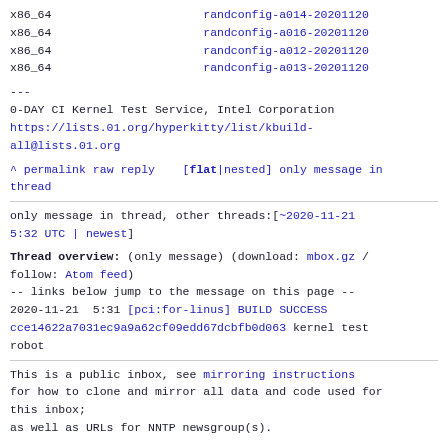x86_64                    randconfig-a014-20201120
x86_64                    randconfig-a016-20201120
x86_64                    randconfig-a012-20201120
x86_64                    randconfig-a013-20201120
---
0-DAY CI Kernel Test Service, Intel Corporation
https://lists.01.org/hyperkitty/list/kbuild-all@lists.01.org
^ permalink raw reply  [flat|nested] only message in thread
only message in thread, other threads:[~2020-11-21 5:32 UTC | newest]
Thread overview: (only message) (download: mbox.gz / follow: Atom feed)
-- links below jump to the message on this page --
2020-11-21  5:31 [pci:for-linus] BUILD SUCCESS cce14622a7031ec9a9a62cf09edd67dcbfb0d063 kernel test robot
This is a public inbox, see mirroring instructions for how to clone and mirror all data and code used for this inbox;
as well as URLs for NNTP newsgroup(s).